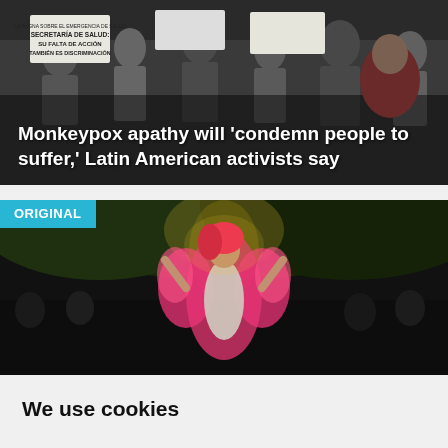[Figure (photo): Protest scene with people holding signs in Spanish, dark overlay background. Signs visible include text about Secretaría de Salud and falta de acción.]
Monkeypox apathy will 'condemn people to suffer,' Latin American activists say
[Figure (photo): Dark outdoor crowd scene with a central figure wearing bright pink/orange feathery costume, backlit by sunlight through trees. Badge labeled ORIGINAL in cyan.]
We use cookies
We use cookies and other tracking technologies to improve your browsing experience on our website, to show you personalized content and targeted ads, to analyze our website traffic, and to understand where our visitors are coming from.